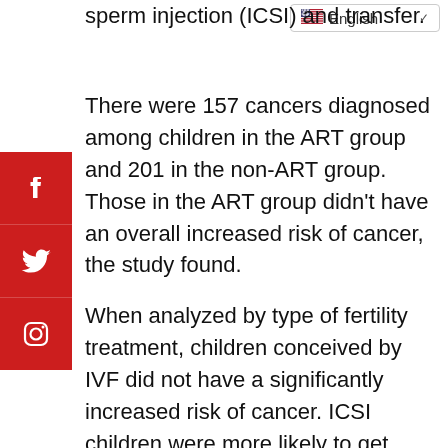[Figure (screenshot): Language selector dropdown showing US flag and 'English' text with dropdown arrow]
[Figure (other): Social media share buttons: Facebook (red with f icon), Twitter (red with bird icon), Instagram (red with camera icon) stacked vertically on the left side]
sperm injection (ICSI) and transfer.
There were 157 cancers diagnosed among children in the ART group and 201 in the non-ART group. Those in the ART group didn't have an overall increased risk of cancer, the study found.
When analyzed by type of fertility treatment, children conceived by IVF did not have a significantly increased risk of cancer. ICSI children were more likely to get cancer, but this was mainly due to an increased risk of melanoma skin cancer (four cases), which may be due to chance, according to the researchers.